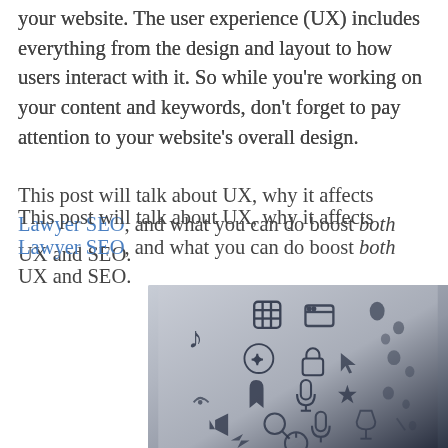your website. The user experience (UX) includes everything from the design and layout to how users interact with it. So while you're working on your content and keywords, don't forget to pay attention to your website's overall design.
This post will talk about UX, why it affects Lawyer SEO, and what you can do boost both UX and SEO.
[Figure (photo): Close-up photo of a screen or surface showing various app/UI icons in dark navy color on a light grey/blue background, arranged in a perspective grid pattern. Icons include music notes, calendar, settings, microphone, search, wifi, and other common UI icons.]